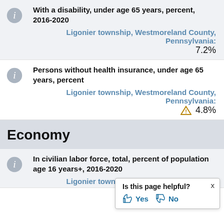With a disability, under age 65 years, percent, 2016-2020
Ligonier township, Westmoreland County, Pennsylvania: 7.2%
Persons without health insurance, under age 65 years, percent
Ligonier township, Westmoreland County, Pennsylvania: ⚠ 4.8%
Economy
In civilian labor force, total, percent of population age 16 years+, 2016-2020
Ligonier township, Westmoreland County,
Is this page helpful? Yes No